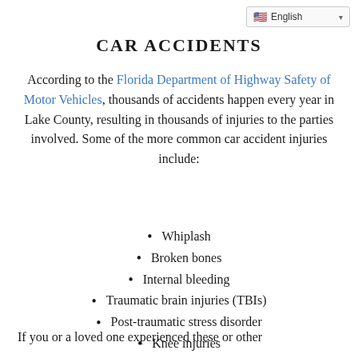English
CAR ACCIDENTS
According to the Florida Department of Highway Safety of Motor Vehicles, thousands of accidents happen every year in Lake County, resulting in thousands of injuries to the parties involved. Some of the more common car accident injuries include:
Whiplash
Broken bones
Internal bleeding
Traumatic brain injuries (TBIs)
Post-traumatic stress disorder
Knee injuries
Cuts, scrapes, and bruising
If you or a loved one experienced these or other